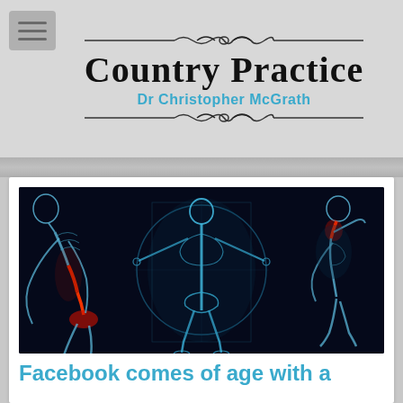Country Practice — Dr Christopher McGrath
[Figure (illustration): Medical illustration showing three X-ray style human skeletal figures on a dark background. Left figure bent forward with red highlighted spine/lower back, center figure in Vitruvian Man pose with blue skeletal overlay and circle, right figure seated with red highlighted cervical spine/neck area.]
Facebook comes of age with a